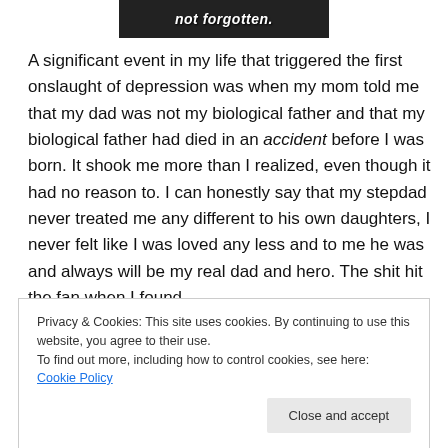[Figure (photo): Grayscale image banner with white italic bold text reading 'not forgotten.' on dark background]
A significant event in my life that triggered the first onslaught of depression was when my mom told me that my dad was not my biological father and that my biological father had died in an accident before I was born. It shook me more than I realized, even though it had no reason to. I can honestly say that my stepdad never treated me any different to his own daughters, I never felt like I was loved any less and to me he was and always will be my real dad and hero. The shit hit the fan when I found
Privacy & Cookies: This site uses cookies. By continuing to use this website, you agree to their use.
To find out more, including how to control cookies, see here: Cookie Policy
best faith in her, so it could be seen as an end to tell me on the